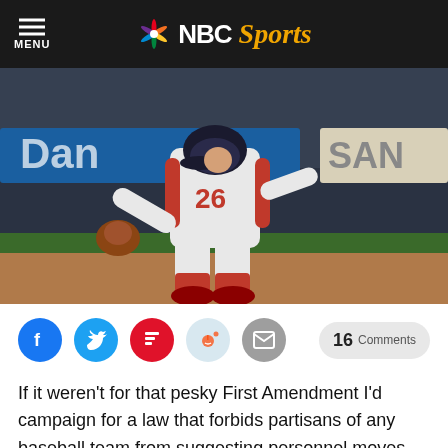MENU | NBC Sports
[Figure (photo): Baseball player wearing jersey number 26 in a fielding stance on the infield dirt, wearing red and white uniform with red cleats and a brown fielding glove]
16 Comments
If it weren't for that pesky First Amendment I'd campaign for a law that forbids partisans of any baseball team from suggesting personnel moves until a good ten days after the World Series ends, because almost anything that comes out in that vein is reactionary and fairly stupid. As